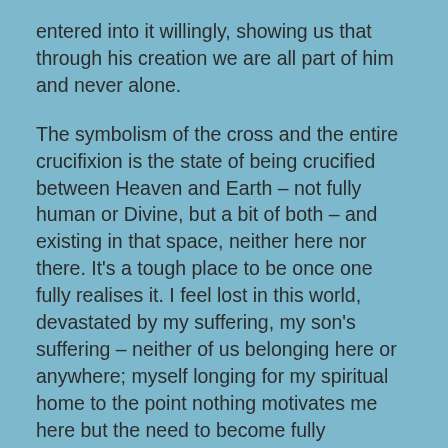entered into it willingly, showing us that through his creation we are all part of him and never alone.
The symbolism of the cross and the entire crucifixion is the state of being crucified between Heaven and Earth – not fully human or Divine, but a bit of both – and existing in that space, neither here nor there. It's a tough place to be once one fully realises it. I feel lost in this world, devastated by my suffering, my son's suffering – neither of us belonging here or anywhere; myself longing for my spiritual home to the point nothing motivates me here but the need to become fully immersed in God. This is why the religion of my childhood – Christianity – draws me in – its a faith of love and suffering and promise of resurrection – what some may call a new state of consciousness, a living with Christ in – let me for now let that be...